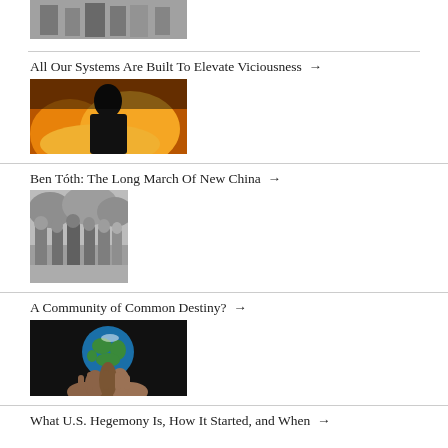[Figure (photo): Black and white photo of soldiers or military personnel, partially visible at top of page]
All Our Systems Are Built To Elevate Viciousness →
[Figure (photo): Silhouette of a person in front of large flames/fire, dark dramatic image]
Ben Tóth: The Long March Of New China →
[Figure (photo): Black and white photo of a group of soldiers or military men standing together outdoors]
A Community of Common Destiny? →
[Figure (photo): Hands holding up a globe/Earth against a dark background]
What U.S. Hegemony Is, How It Started, and When →